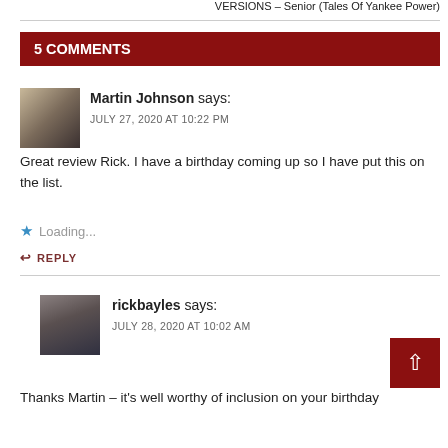VERSIONS – Senior (Tales Of Yankee Power)
5 COMMENTS
Martin Johnson says:
JULY 27, 2020 AT 10:22 PM
Great review Rick. I have a birthday coming up so I have put this on the list.
Loading...
REPLY
rickbayles says:
JULY 28, 2020 AT 10:02 AM
Thanks Martin – it's well worthy of inclusion on your birthday